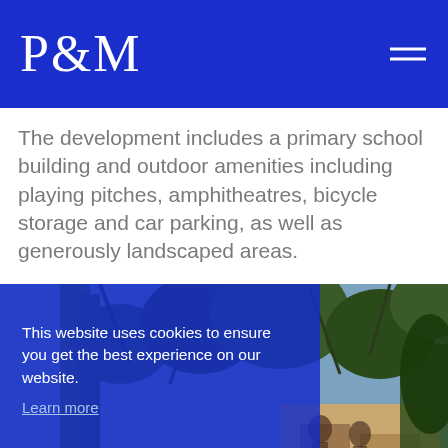P&M
The development includes a primary school building and outdoor amenities including playing pitches, amphitheatres, bicycle storage and car parking, as well as generously landscaped areas.
[Figure (photo): Outdoor photo showing people among trees and a building structure, partially obscured by a cookie consent overlay banner.]
This website uses cookies to ensure you get the best experience on our website. Learn more Got it!